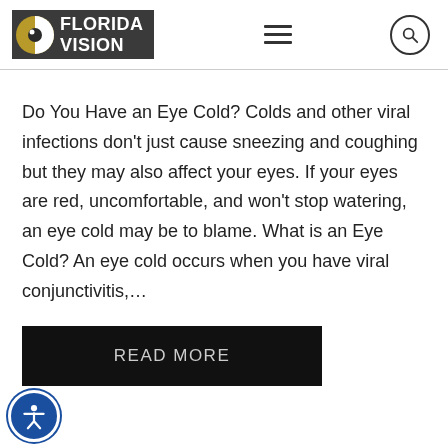[Figure (logo): Florida Vision logo: dark background box with gold/white eye icon and white bold text reading FLORIDA VISION]
Do You Have an Eye Cold? Colds and other viral infections don't just cause sneezing and coughing but they may also affect your eyes. If your eyes are red, uncomfortable, and won't stop watering, an eye cold may be to blame. What is an Eye Cold? An eye cold occurs when you have viral conjunctivitis,...
READ MORE